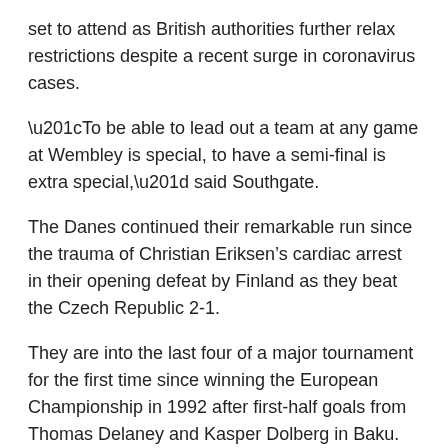set to attend as British authorities further relax restrictions despite a recent surge in coronavirus cases.
“To be able to lead out a team at any game at Wembley is special, to have a semi-final is extra special,” said Southgate.
The Danes continued their remarkable run since the trauma of Christian Eriksen’s cardiac arrest in their opening defeat by Finland as they beat the Czech Republic 2-1.
They are into the last four of a major tournament for the first time since winning the European Championship in 1992 after first-half goals from Thomas Delaney and Kasper Dolberg in Baku.
A defeat by Belgium followed the Finland game, but they have now scored 10 goals in three straight wins since then.